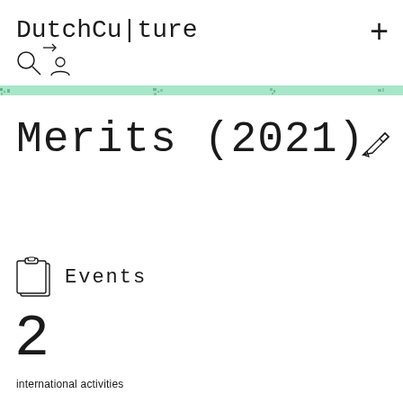DutchCulture +
Merits (2021)
Events
2
international activities